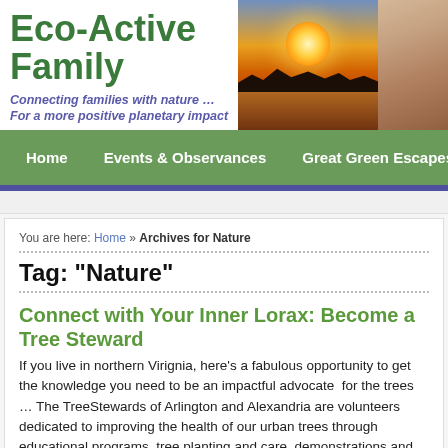Eco-Active Family
Connecting families with nature … For a more positive planetary impact
[Figure (photo): Sunset over a lake with tree silhouettes reflected in the water]
[Figure (photo): Close-up profile of a baby's face]
Home | Events & Observances | Great Green Escapes | About
You are here: Home » Archives for Nature
Tag: "Nature"
Connect with Your Inner Lorax: Become a Tree Steward
If you live in northern Virignia, here's a fabulous opportunity to get the knowledge you need to be an impactful advocate  for the trees … The TreeStewards of Arlington and Alexandria are volunteers dedicated to improving the health of our urban trees through educational programs, tree planting and care, demonstrations and tree maintenance throughout the